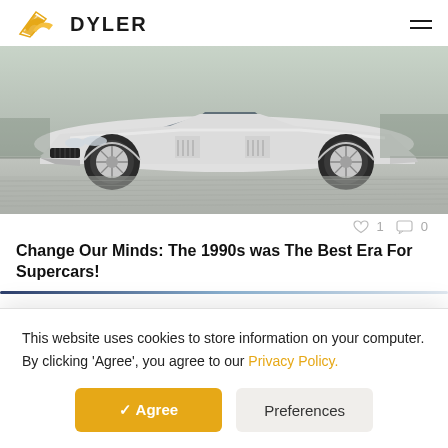DYLER
[Figure (photo): White Mercedes-Benz CLK GTR supercar on a racetrack, side/front view, silver/white body with large wheels]
♡ 1  💬 0
Change Our Minds: The 1990s was The Best Era For Supercars!
This website uses cookies to store information on your computer. By clicking 'Agree', you agree to our Privacy Policy.